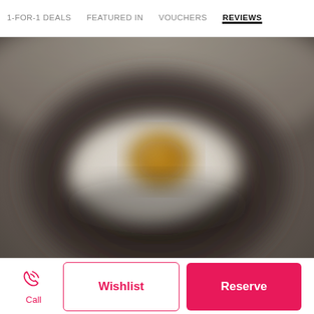1-FOR-1 DEALS   FEATURED IN   VOUCHERS   REVIEWS
[Figure (photo): Blurred close-up photo of a fried egg or food dish on a dark plate, taken from above with soft focus]
Call
Wishlist
Reserve